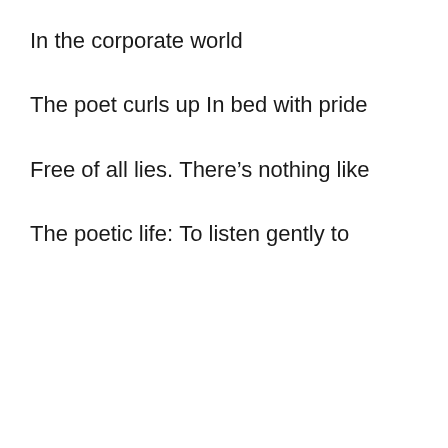In the corporate world
The poet curls up
In bed with pride
Free of all lies.
There’s nothing like
The poetic life:
To listen gently to